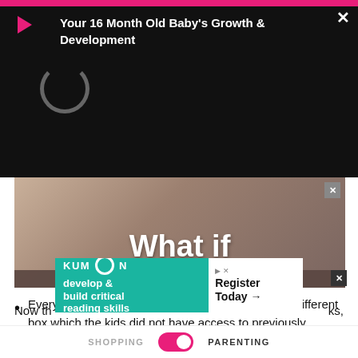[Figure (screenshot): Video overlay panel with pink top bar, red play button icon, close X button, spinner/loading circle, and title text 'Your 16 Month Old Baby's Growth & Development' on black background]
Your 16 Month Old Baby's Growth & Development
[Figure (screenshot): Advertisement image showing blurred background with 'What if' text in large white bold letters, with ADVERTISEMENT label bar below, and X close button]
Every 15 days to one month, swap the toys with a different box which the kids did not have access to previously.
Remember to put away the old toys before bringing out the new ones.
[Figure (screenshot): Kumon advertisement banner with teal left side showing 'develop & build critical reading skills' and white right side showing 'Register Today →' with arrow icons]
Now th...ks,
SHOPPING   [toggle]   PARENTING